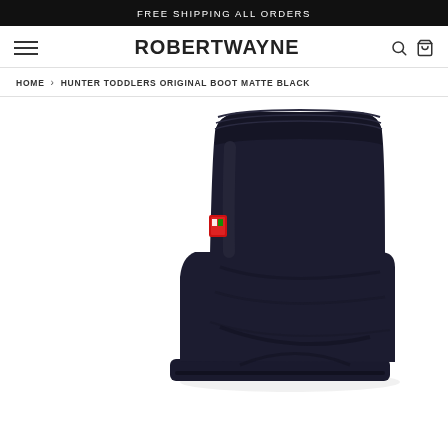FREE SHIPPING ALL ORDERS
ROBERTWAYNE
HOME > HUNTER TODDLERS ORIGINAL BOOT MATTE BLACK
[Figure (photo): Hunter Toddlers Original Boot in Matte Black — a dark navy/black rubber rain boot for toddlers, shown against a white background. The boot features a textured collar at the top, smooth matte body, and a small red Hunter logo tag on the back.]